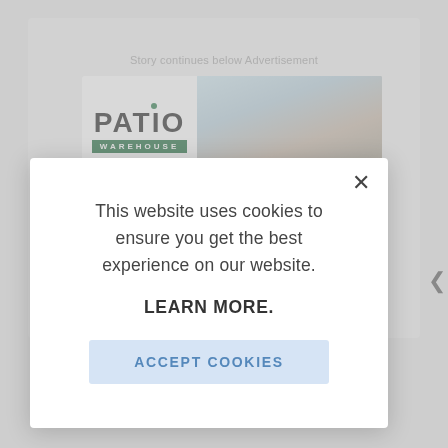[Figure (screenshot): Background webpage showing a Patio Warehouse advertisement banner with logo and sofa/cushions photo, partially obscured by modal overlay]
Story continues below Advertisement
This website uses cookies to ensure you get the best experience on our website.
LEARN MORE.
ACCEPT COOKIES